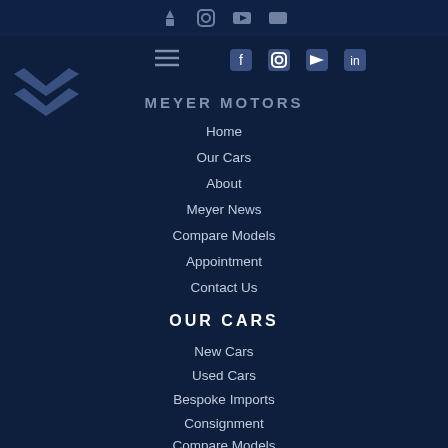Meyer Motors navigation header with logo and social icons
MEYER MOTORS
Home
Our Cars
About
Meyer News
Compare Models
Appointment
Contact Us
OUR CARS
New Cars
Used Cars
Bespoke Imports
Consignment
Compare Models
CONTACT US
About